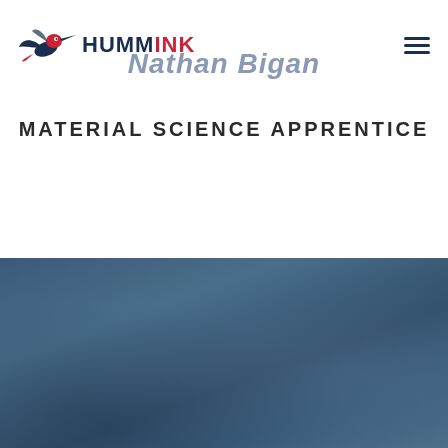[Figure (logo): Hummink logo with stylized hummingbird in red/blue and text HUMMINK]
Nathan Bigan
MATERIAL SCIENCE APPRENTICE
[Figure (photo): Blue-toned blurred background photo, lower half of page]